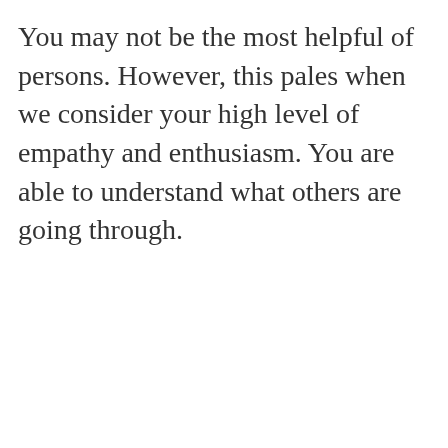You may not be the most helpful of persons. However, this pales when we consider your high level of empathy and enthusiasm. You are able to understand what others are going through.
[Figure (other): Advertisement for Tally+ app. Dark green background with Tally logo (white 'W' icon and 'tally' text). Headline reads 'Get out of credit card debt faster with Tally+'. Illustration of a person with arms raised, cards and icons floating above. Below the green section is a light teal area with an 'Apply Now' button.]